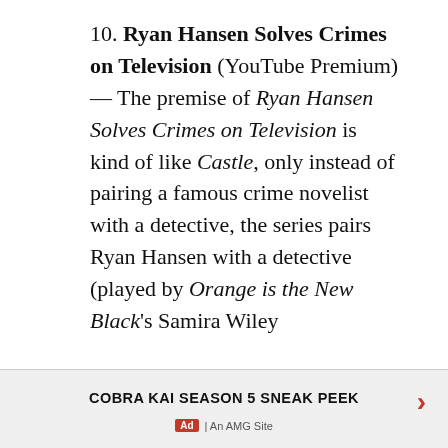10. Ryan Hansen Solves Crimes on Television (YouTube Premium) — The premise of Ryan Hansen Solves Crimes on Television is kind of like Castle, only instead of pairing a famous crime novelist with a detective, the series pairs Ryan Hansen with a detective (played by Orange is the New Black's Samira Wiley in the first season). Hansen plays himself, a pseudo recognizable
[Figure (logo): Teal triangular arrow/polygon icon on left side]
[Figure (other): Close/X button circle on right side]
COBRA KAI SEASON 5 SNEAK PEEK
Ad | An AMG Site